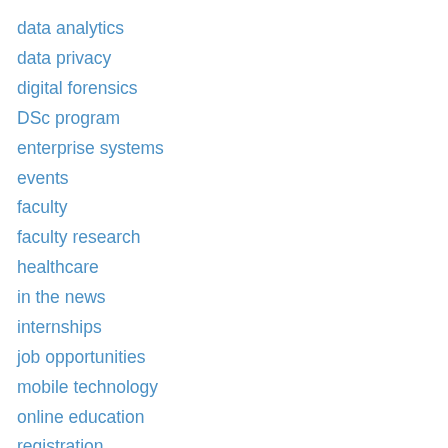data analytics
data privacy
digital forensics
DSc program
enterprise systems
events
faculty
faculty research
healthcare
in the news
internships
job opportunities
mobile technology
online education
registration
reminders
scholarships
student editorial
student research
top secret colonials